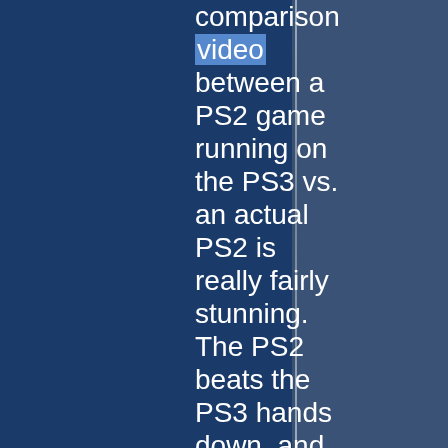comparison video between a PS2 game running on the PS3 vs. an actual PS2 is really fairly stunning. The PS2 beats the PS3 hands down, and does so clearly enough that you don't have to be picky to notice the difference. Check out the article for more information